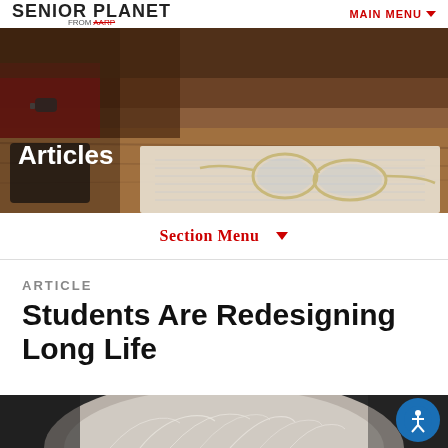SENIOR PLANET FROM AARP | MAIN MENU
[Figure (photo): Close-up photo of glasses resting on an open book/document on a wooden desk, with a person in a red shirt and watch visible in the background]
Articles
Section Menu ▼
ARTICLE
Students Are Redesigning Long Life
[Figure (photo): Partial photo of the back of a person's head with white/grey hair, bottom portion of page]